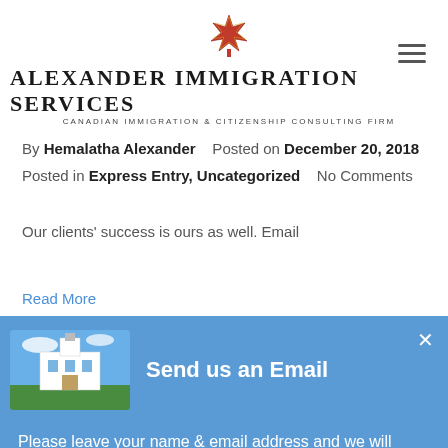[Figure (logo): Alexander Immigration Services logo with maple leaf icon above the text]
By Hemalatha Alexander   Posted on December 20, 2018
Posted in Express Entry, Uncategorized   No Comments
Our clients' success is ours as well. Email
Read More
[Figure (screenshot): Email popup overlay with photo of a white building, title 'Send us an Email', body text, and Submit Details button]